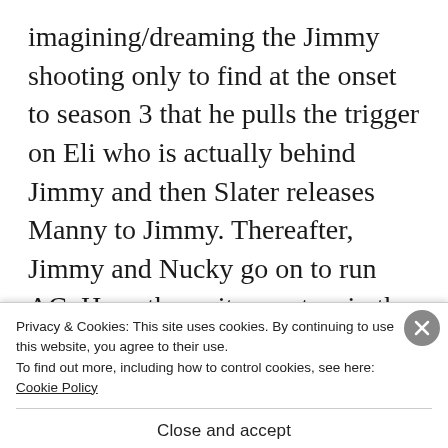imagining/dreaming the Jimmy shooting only to find at the onset to season 3 that he pulls the trigger on Eli who is actually behind Jimmy and then Slater releases Manny to Jimmy. Thereafter, Jimmy and Nucky go on to run AC. Have the writers put us in the middle of a dream state until the start of season 3? Just imagine, wouldn't that be a real curve ball. I highly doubt it.
Privacy & Cookies: This site uses cookies. By continuing to use this website, you agree to their use.
To find out more, including how to control cookies, see here: Cookie Policy
Close and accept